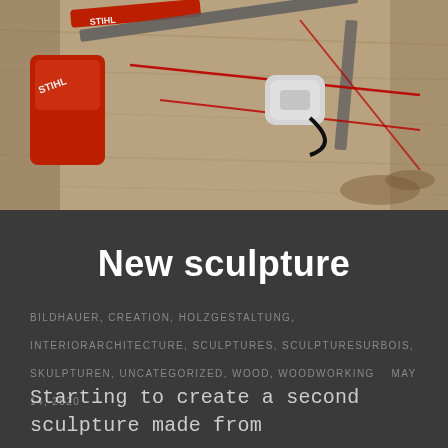[Figure (photo): Photo of a STIHL chainsaw (red) and a white tape measure resting on a light wooden plank with red pencil lines and a metal ruler/square. Woodchips visible on the ground nearby.]
New sculpture
BILDHAUER, CREATION, HOLZGESTALTUNG, INTERIORARCHITECTURE, SCULPTURES, SCULPTURESURBOIS, SKULPTUREN, UNCATEGORIZED, WOOD, WOODWORKING    MAY 14, 2020
Starting to create a second sculpture made from